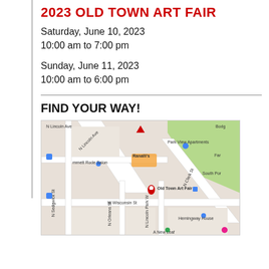2023 OLD TOWN ART FAIR
Saturday, June 10, 2023
10:00 am to 7:00 pm
Sunday, June 11, 2023
10:00 am to 6:00 pm
FIND YOUR WAY!
[Figure (map): Google Map showing the area around the Old Town Art Fair location in Chicago, with streets including N Lincoln Ave, N Clark St, N Sedgwick St, N Orleans St, N Lincoln Park W, W Wisconsin St, and landmarks including Park View Apartments, Ranalli's, Hemingway House, A New Leaf, and South Port area. A red location pin marks the Old Town Art Fair site.]